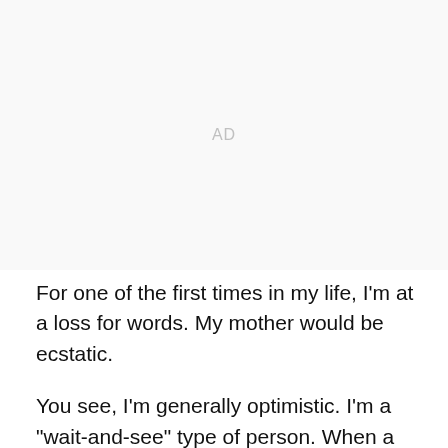[Figure (other): Advertisement placeholder area labeled 'AD']
For one of the first times in my life, I'm at a loss for words. My mother would be ecstatic.
You see, I'm generally optimistic. I'm a "wait-and-see" type of person. When a young guy struggles, I'm not quick to call them a bust or be generally negative about